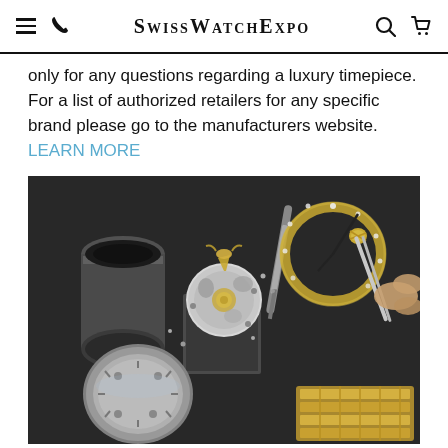SwissWatchExpo
only for any questions regarding a luxury timepiece. For a list of authorized retailers for any specific brand please go to the manufacturers website. LEARN MORE
[Figure (photo): Watch repair workshop scene showing disassembled luxury watch movement, components including crown, bezel with diamonds, watch case with movement exposed, loupe, screwdriver, tweezers, and gold bracelet on dark background]